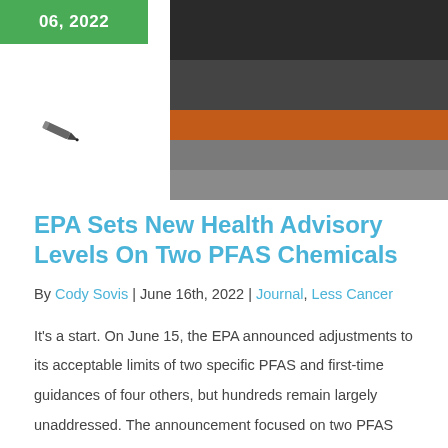06, 2022
[Figure (photo): Industrial facility with truck and conveyor structures, outdoor industrial scene]
[Figure (illustration): Pen/quill icon]
EPA Sets New Health Advisory Levels On Two PFAS Chemicals
By Cody Sovis | June 16th, 2022 | Journal, Less Cancer
It's a start. On June 15, the EPA announced adjustments to its acceptable limits of two specific PFAS and first-time guidances of four others, but hundreds remain largely unaddressed. The announcement focused on two PFAS that are primarily from time-tested industrial to institutions...